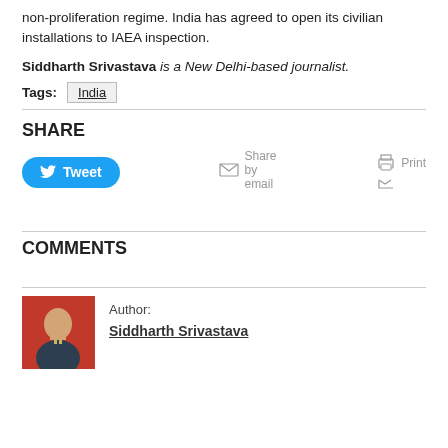non-proliferation regime. India has agreed to open its civilian installations to IAEA inspection.
Siddharth Srivastava is a New Delhi-based journalist.
Tags: India
SHARE
[Figure (other): Tweet button and share/print/email icons]
COMMENTS
[Figure (photo): Author photo of Siddharth Srivastava]
Author: Siddharth Srivastava